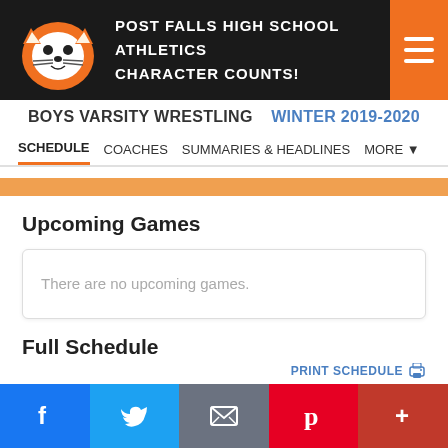POST FALLS HIGH SCHOOL ATHLETICS CHARACTER COUNTS!
BOYS VARSITY WRESTLING
WINTER 2019-2020
SCHEDULE   COACHES   SUMMARIES & HEADLINES   MORE
Upcoming Games
There are no upcoming games.
Full Schedule
PRINT SCHEDULE
Event Type(s)